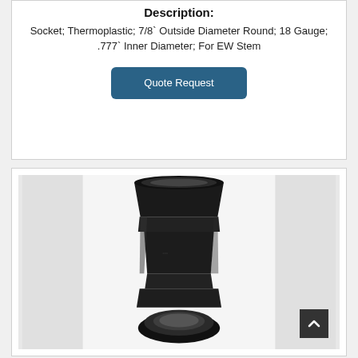Description:
Socket; Thermoplastic; 7/8` Outside Diameter Round; 18 Gauge; .777` Inner Diameter; For EW Stem
Quote Request
[Figure (photo): Black thermoplastic socket component photographed from above against a white/grey background. The part has a cylindrical body that widens at the top and has an open hollow circular bottom end, consistent with a 7/8 inch outside diameter round socket for an EW stem.]